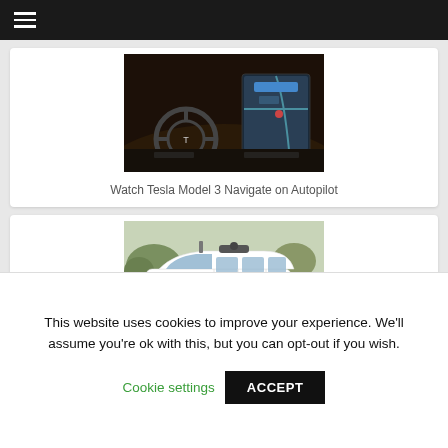Navigation menu
[Figure (screenshot): Tesla Model 3 interior dashboard showing steering wheel and navigation screen on autopilot]
Watch Tesla Model 3 Navigate on Autopilot
[Figure (photo): White Waymo self-driving minivan (Chrysler Pacifica) on a road with autonomous driving sensors visible on roof]
Waymo simulates dozens of real-world fatalities
This website uses cookies to improve your experience. We'll assume you're ok with this, but you can opt-out if you wish.
Cookie settings    ACCEPT